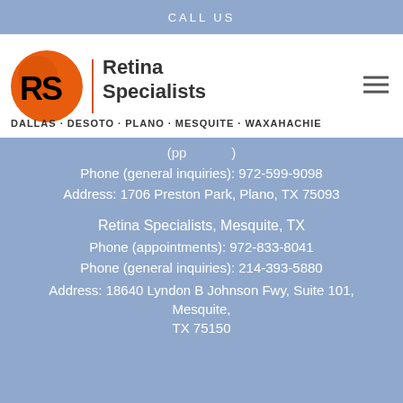CALL US
[Figure (logo): Retina Specialists logo with RS initials on orange circle, with text 'Retina Specialists' and locations 'DALLAS · DESOTO · PLANO · MESQUITE · WAXAHACHIE']
Phone (general inquiries): 972-599-9098
Address: 1706 Preston Park, Plano, TX 75093
Retina Specialists, Mesquite, TX
Phone (appointments): 972-833-8041
Phone (general inquiries): 214-393-5880
Address: 18640 Lyndon B Johnson Fwy, Suite 101, Mesquite, TX 75150